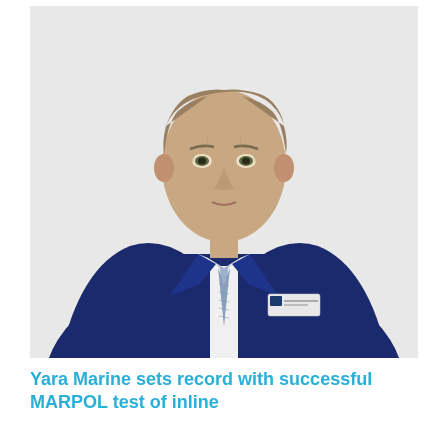[Figure (photo): Portrait photo of a middle-aged man in a navy blue suit with a light blue/grey patterned tie and white dress shirt, wearing a name badge on his left lapel. He has short grey-brown hair and is standing against a light grey/white background.]
Yara Marine sets record with successful MARPOL test of inline